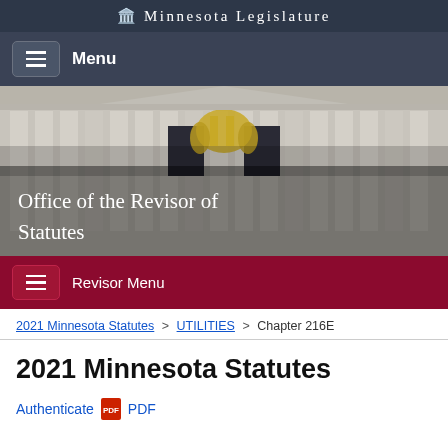Minnesota Legislature
Menu
[Figure (photo): Exterior of the Minnesota State Capitol building with classical columns and golden sculpture. Overlay text reads: Office of the Revisor of Statutes]
Revisor Menu
2021 Minnesota Statutes > UTILITIES > Chapter 216E
2021 Minnesota Statutes
Authenticate PDF